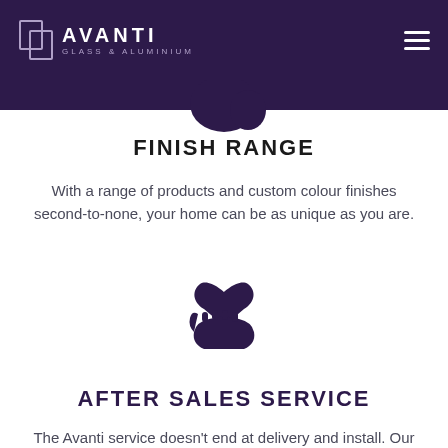[Figure (logo): Avanti Glass & Aluminium logo in white on dark purple header bar, with hamburger menu icon on the right]
[Figure (illustration): Small dark purple hand/palette icon decoration below header]
FINISH RANGE
With a range of products and custom colour finishes second-to-none, your home can be as unique as you are.
[Figure (illustration): Dark purple icon of a hand holding a heart (after-sales service icon)]
AFTER SALES SERVICE
The Avanti service doesn't end at delivery and install. Our attentive after-sales team will ensure you are